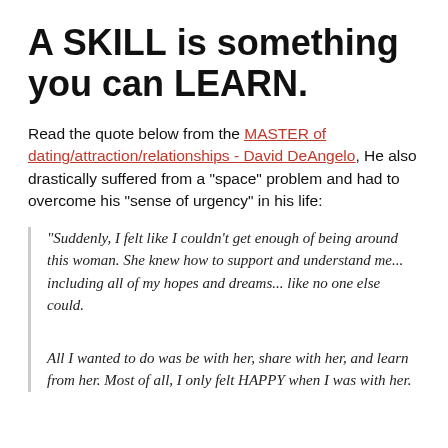A SKILL is something you can LEARN.
Read the quote below from the MASTER of dating/attraction/relationships - David DeAngelo, He also drastically suffered from a "space" problem and had to overcome his "sense of urgency" in his life:
"Suddenly, I felt like I couldn't get enough of being around this woman. She knew how to support and understand me... including all of my hopes and dreams... like no one else could.
All I wanted to do was be with her, share with her, and learn from her. Most of all, I only felt HAPPY when I was with her.